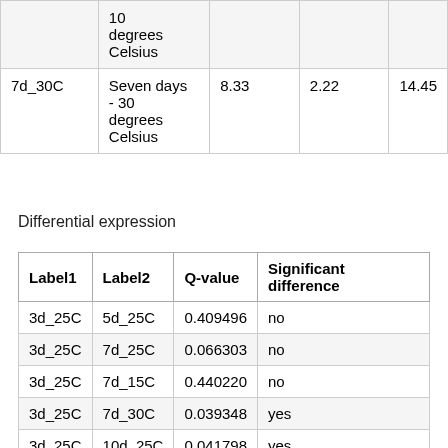|  | 10 degrees Celsius |  |  |  |
| 7d_30C | Seven days - 30 degrees Celsius | 8.33 | 2.22 | 14.45 |
Differential expression
| Label1 | Label2 | Q-value | Significant difference |
| --- | --- | --- | --- |
| 3d_25C | 5d_25C | 0.409496 | no |
| 3d_25C | 7d_25C | 0.066303 | no |
| 3d_25C | 7d_15C | 0.440220 | no |
| 3d_25C | 7d_30C | 0.039348 | yes |
| 3d_25C | 10d_25C | 0.041798 | yes |
| 5d_25C | 7d_25C | 0.486718 |  |